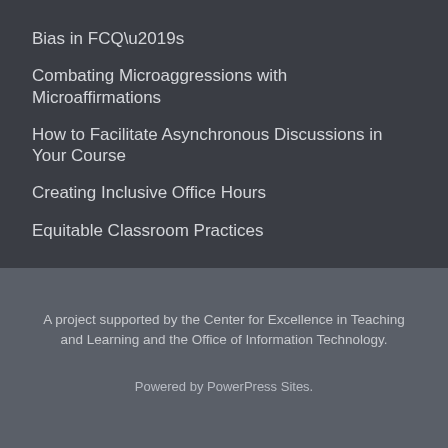Bias in FCQ’s
Combating Microaggressions with Microaffirmations
How to Facilitate Asynchronous Discussions in Your Course
Creating Inclusive Office Hours
Equitable Classroom Practices
A project supported by the Center for Excellence in Teaching and Learning and the Office of Information Technology.
Powered by PowerPress Sites.